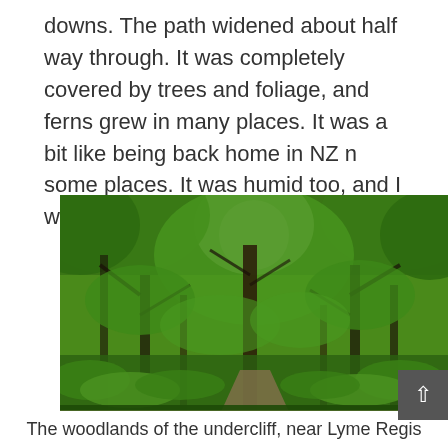downs. The path widened about half way through. It was completely covered by trees and foliage, and ferns grew in many places. It was a bit like being back home in NZ n some places. It was humid too, and I was sweating a lot.
[Figure (photo): A lush green woodland path with tall trees covered in foliage, ferns on the forest floor, and a dirt trail visible in the foreground. Light filters through the canopy above.]
The woodlands of the undercliff, near Lyme Regis